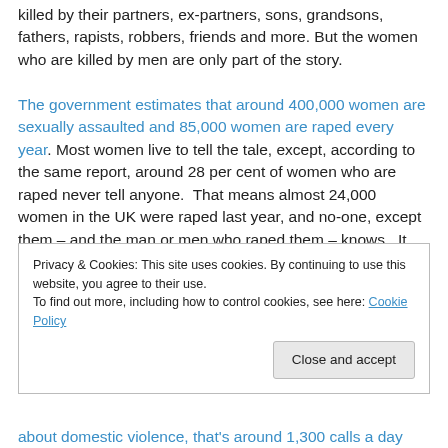killed by their partners, ex-partners, sons, grandsons, fathers, rapists, robbers, friends and more. But the women who are killed by men are only part of the story. The government estimates that around 400,000 women are sexually assaulted and 85,000 women are raped every year. Most women live to tell the tale, except, according to the same report, around 28 per cent of women who are raped never tell anyone. That means almost 24,000 women in the UK were raped last year, and no-one, except them – and the man or men who raped them – knows. It means that you may know one, or more woman,
Privacy & Cookies: This site uses cookies. By continuing to use this website, you agree to their use. To find out more, including how to control cookies, see here: Cookie Policy
about domestic violence, that's around 1,300 calls a day